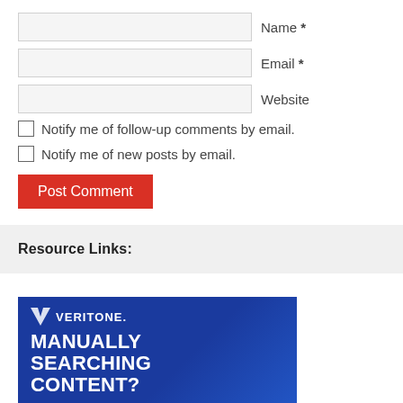Name *
Email *
Website
Notify me of follow-up comments by email.
Notify me of new posts by email.
Post Comment
Resource Links:
[Figure (other): Veritone advertisement banner with blue background showing 'MANUALLY SEARCHING CONTENT?' text in bold white, with Veritone logo at top left]